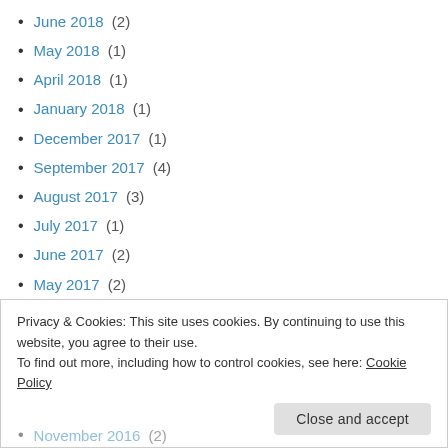June 2018 (2)
May 2018 (1)
April 2018 (1)
January 2018 (1)
December 2017 (1)
September 2017 (4)
August 2017 (3)
July 2017 (1)
June 2017 (2)
May 2017 (2)
April 2017 (1)
Privacy & Cookies: This site uses cookies. By continuing to use this website, you agree to their use.
To find out more, including how to control cookies, see here: Cookie Policy
November 2016 (2)